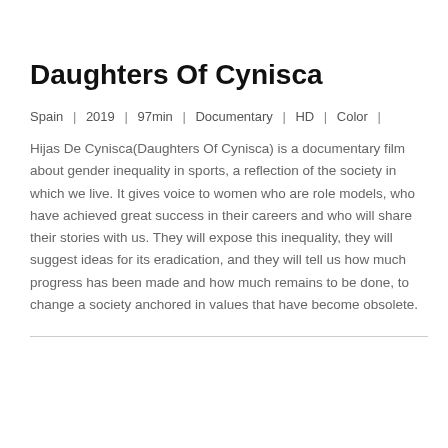Daughters Of Cynisca
Spain | 2019 | 97min | Documentary | HD | Color |
Hijas De Cynisca(Daughters Of Cynisca) is a documentary film about gender inequality in sports, a reflection of the society in which we live. It gives voice to women who are role models, who have achieved great success in their careers and who will share their stories with us. They will expose this inequality, they will suggest ideas for its eradication, and they will tell us how much progress has been made and how much remains to be done, to change a society anchored in values that have become obsolete.